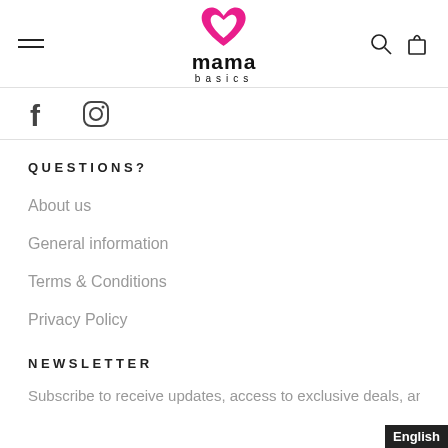mama basics — navigation header with hamburger menu, logo, search and cart icons
[Figure (logo): mama basics logo: pink heart icon above bold 'mama' text with 'basics' in spaced letters below]
[Figure (other): Social media icons: Facebook (f) and Instagram (circle with camera)]
QUESTIONS?
About us
General information
Terms & Conditions
Privacy Policy
NEWSLETTER
Subscribe to receive updates, access to exclusive deals, an
English